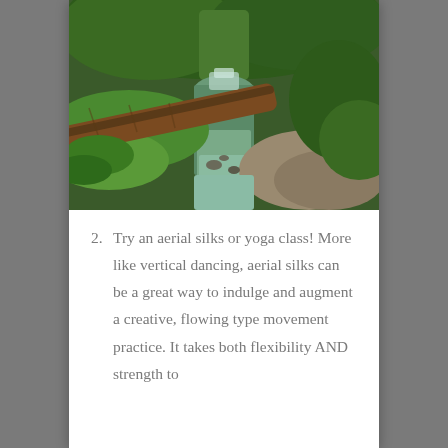[Figure (photo): A forest stream with a fallen log crossing over it, surrounded by green moss, ferns, and lush foliage. Water flows gently over rocks in a wooded setting.]
2. Try an aerial silks or yoga class! More like vertical dancing, aerial silks can be a great way to indulge and augment a creative, flowing type movement practice. It takes both flexibility AND strength to